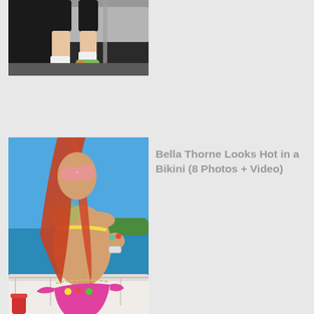[Figure (photo): A person's legs visible below dark shorts, wearing colorful sneakers and white socks, stepping near a car]
[Figure (photo): Bella Thorne with long red hair, wearing a yellow bikini top and pink bikini bottoms with floral details, on a boat with blue sea in background]
Bella Thorne Looks Hot in a Bikini (8 Photos + Video)